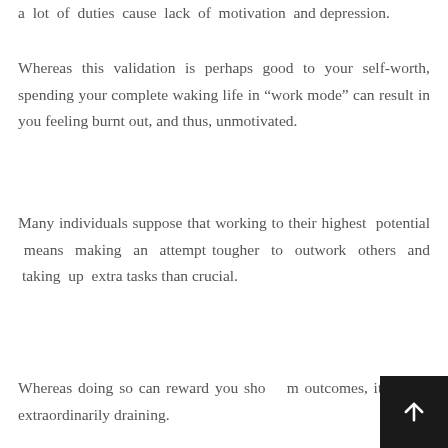a lot of duties cause lack of motivation and depression.
Whereas this validation is perhaps good to your self-worth, spending your complete waking life in “work mode” can result in you feeling burnt out, and thus, unmotivated.
Many individuals suppose that working to their highest potential means making an attempt tougher to outwork others and taking up extra tasks than crucial.
Whereas doing so can reward you short outcomes, it can be extraordinarily draining.